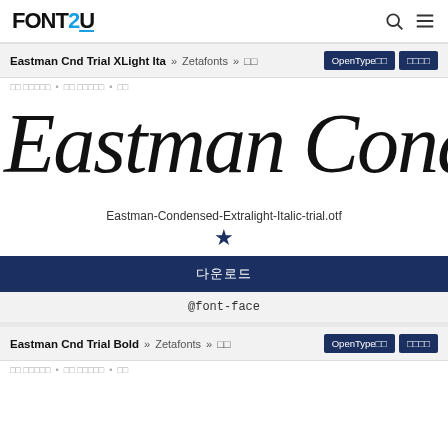FONTS2U
Eastman Cnd Trial XLight Ita » Zetafonts » □□ OpenType□□ □□□□
□□ □□□□□ • □□ □□□□□ • □□
[Figure (other): Large italic preview text showing 'Eastman Conde' in extra light condensed italic style]
Eastman-Condensed-Extralight-Italic-trial.otf
★
다운로드
@font-face
Eastman Cnd Trial Bold » Zetafonts » □□ OpenType□□ □□□□
□□ □□□□□ • □□ □□□□□ • □□